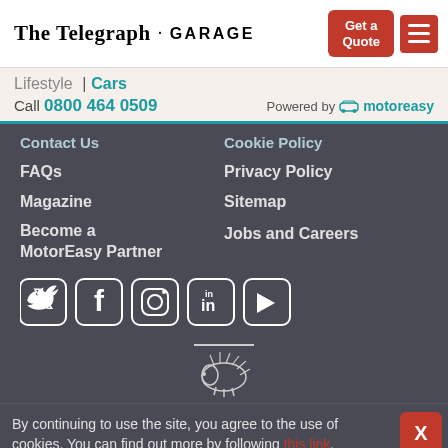The Telegraph · GARAGE | Get a Quote
Lifestyle | Cars
Call 0800 464 0509
Powered by motoreasy
Contact Us
Cookie Policy
FAQs
Privacy Policy
Magazine
Sitemap
Become a MotorEasy Partner
Jobs and Careers
[Figure (logo): Social media icons: Twitter, Facebook, Instagram, LinkedIn, YouTube]
[Figure (logo): Hedgehog/animal logo above a horizontal line]
By continuing to use the site, you agree to the use of cookies. You can find out more by following this link.